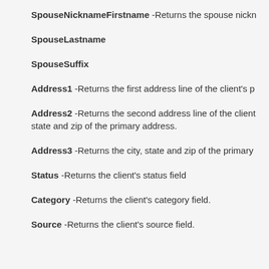SpouseNicknameFirstname -Returns the spouse nickname/first name
SpouseLastname
SpouseSuffix
Address1 -Returns the first address line of the client's primary address.
Address2 -Returns the second address line of the client's primary address, state and zip of the primary address.
Address3 -Returns the city, state and zip of the primary address.
Status -Returns the client's status field
Category -Returns the client's category field.
Source -Returns the client's source field.